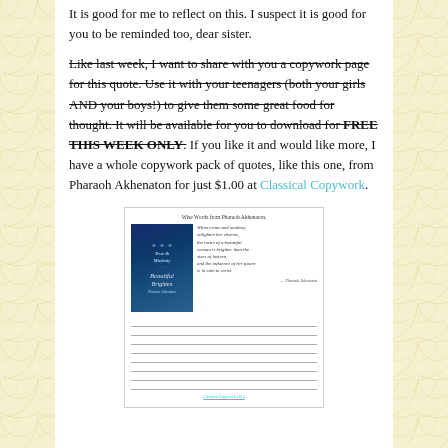It is good for me to reflect on this.  I suspect it is good for you to be reminded too, dear sister.
Like last week, I want to share with you a copywork page for this quote.  Use it with your teenagers (both your girls AND your boys!) to give them some great food for thought.  It will be available for you to download for FREE THIS WEEK ONLY.  If you like it and would like more, I have a whole copywork pack of quotes, like this one, from Pharaoh Akhenaton for just $1.00 at Classical Copywork.
[Figure (illustration): Preview of a copywork page titled 'Wise Words from Pharaoh Akhenaton' showing a book cover with dark blue background and an italic cursive quote, followed by ruled lines for writing practice. Footer says 'Classical Copywork'.]